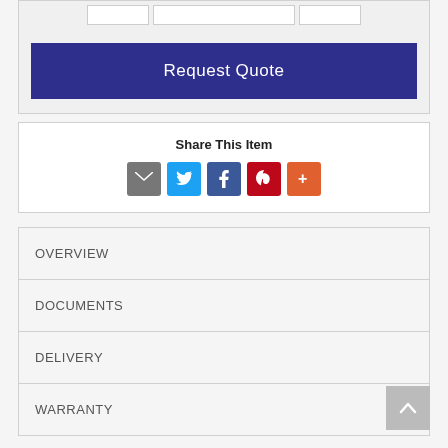[Figure (screenshot): Request Quote button - dark blue/indigo wide button]
Share This Item
[Figure (infographic): Social share icons: Email (grey), Twitter (blue), Facebook (blue), Pinterest (red), More (orange)]
OVERVIEW
DOCUMENTS
DELIVERY
WARRANTY